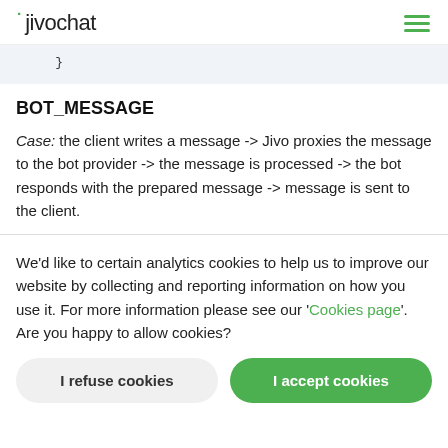jivochat
}
BOT_MESSAGE
Case: the client writes a message -> Jivo proxies the message to the bot provider -> the message is processed -> the bot responds with the prepared message -> message is sent to the client.
We'd like to certain analytics cookies to help us to improve our website by collecting and reporting information on how you use it. For more information please see our 'Cookies page'. Are you happy to allow cookies?